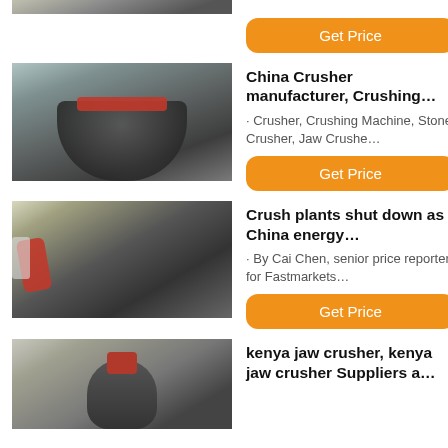[Figure (photo): Partial top image of industrial crushing equipment in a factory setting]
Get Price
[Figure (photo): Cone crusher machine in a large industrial factory warehouse, dark grey machinery]
China Crusher manufacturer, Crushing…
· Crusher, Crushing Machine, Stone Crusher, Jaw Crushe…
Get Price
[Figure (photo): Jaw crusher machines with red components in a manufacturing facility]
Crush plants shut down as China energy…
· By Cai Chen, senior price reporter for Fastmarkets…
Get Price
[Figure (photo): Large industrial crusher or mill machine inside a factory, partial view]
kenya jaw crusher, kenya jaw crusher Suppliers a…